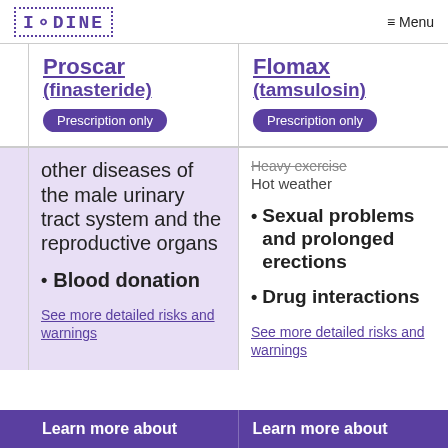IODINE  Menu
Proscar (finasteride)
Prescription only
Flomax (tamsulosin)
Prescription only
other diseases of the male urinary tract system and the reproductive organs
Blood donation
See more detailed risks and warnings
Heavy exercise
Hot weather
Sexual problems and prolonged erections
Drug interactions
See more detailed risks and warnings
Learn more about
Learn more about